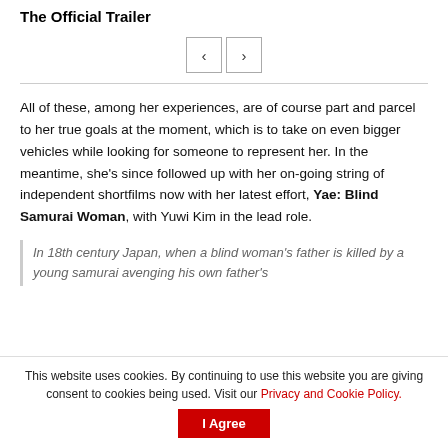The Official Trailer
[Figure (other): Navigation carousel buttons with left and right arrows, separated by a horizontal rule]
All of these, among her experiences, are of course part and parcel to her true goals at the moment, which is to take on even bigger vehicles while looking for someone to represent her. In the meantime, she's since followed up with her on-going string of independent shortfilms now with her latest effort, Yae: Blind Samurai Woman, with Yuwi Kim in the lead role.
In 18th century Japan, when a blind woman's father is killed by a young samurai avenging his own father's
This website uses cookies. By continuing to use this website you are giving consent to cookies being used. Visit our Privacy and Cookie Policy.
I Agree